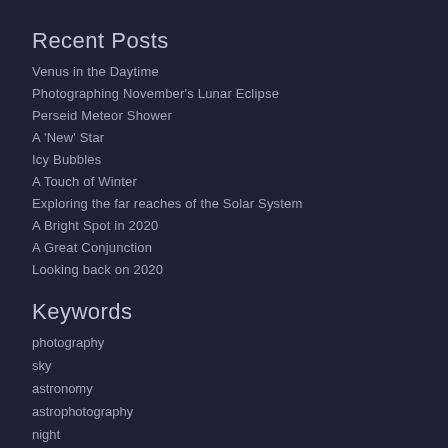Recent Posts
Venus in the Daytime
Photographing November's Lunar Eclipse
Perseid Meteor Shower
A 'New' Star
Icy Bubbles
A Touch of Winter
Exploring the far reaches of the Solar System
A Bright Spot in 2020
A Great Conjunction
Looking back on 2020
Keywords
photography
sky
astronomy
astrophotography
night
stars